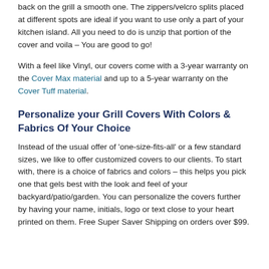back on the grill a smooth one. The zippers/velcro splits placed at different spots are ideal if you want to use only a part of your kitchen island. All you need to do is unzip that portion of the cover and voila – You are good to go!
With a feel like Vinyl, our covers come with a 3-year warranty on the Cover Max material and up to a 5-year warranty on the Cover Tuff material.
Personalize your Grill Covers With Colors & Fabrics Of Your Choice
Instead of the usual offer of 'one-size-fits-all' or a few standard sizes, we like to offer customized covers to our clients. To start with, there is a choice of fabrics and colors – this helps you pick one that gels best with the look and feel of your backyard/patio/garden. You can personalize the covers further by having your name, initials, logo or text close to your heart printed on them. Free Super Saver Shipping on orders over $99.